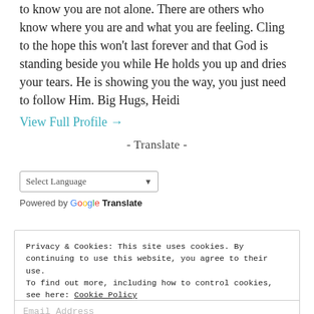to know you are not alone. There are others who know where you are and what you are feeling. Cling to the hope this won't last forever and that God is standing beside you while He holds you up and dries your tears. He is showing you the way, you just need to follow Him. Big Hugs, Heidi
View Full Profile →
- Translate -
[Figure (screenshot): Google Translate widget with Select Language dropdown]
Powered by Google Translate
Privacy & Cookies: This site uses cookies. By continuing to use this website, you agree to their use. To find out more, including how to control cookies, see here: Cookie Policy
Close and accept
Email Address